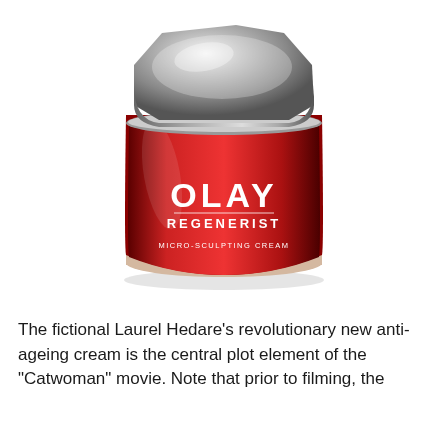[Figure (photo): A red jar of Olay Regenerist Micro-Sculpting Cream with a silver lid, photographed on a white background.]
The fictional Laurel Hedare's revolutionary new anti-ageing cream is the central plot element of the "Catwoman" movie. Note that prior to filming, the